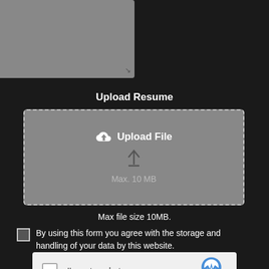[Figure (screenshot): Cover Letter textarea input field with gray background]
Upload Resume
[Figure (screenshot): File upload drop zone with dashed border, cloud upload icon, upload arrow, and Max 10 MB text]
Max file size 10MB.
By using this form you agree with the storage and handling of your data by this website.
[Figure (screenshot): reCAPTCHA widget with checkbox and I'm not a robot text]